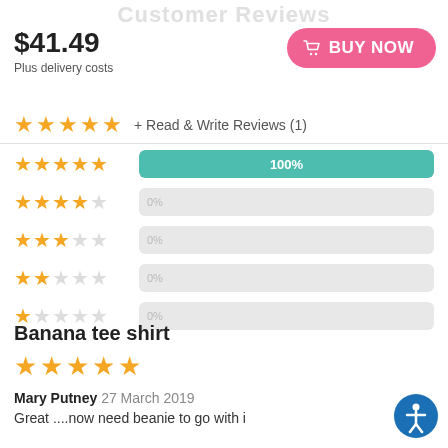Customer Reviews
$41.49
Plus delivery costs
[Figure (other): Pink BUY NOW button with cart icon]
★★★★★ + Read & Write Reviews (1)
[Figure (bar-chart): Star rating distribution]
Banana tee shirt
★★★★★
Mary Putney 27 March 2019
Great ....now need beanie to go with i